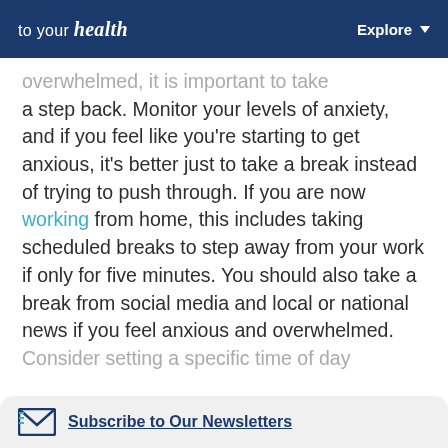to your health | Explore
...especially if you're feeling overwhelmed, it is important to take a step back. Monitor your levels of anxiety, and if you feel like you're starting to get anxious, it's better just to take a break instead of trying to push through. If you are now working from home, this includes taking scheduled breaks to step away from your work if only for five minutes. You should also take a break from social media and local or national news if you feel anxious and overwhelmed. Consider setting a specific time of day
Subscribe to Our Newsletters